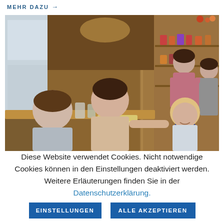MEHR DAZU →
[Figure (photo): A family (man, woman, and young blonde girl) sitting at a wooden table at a farm shop or market stall, with the woman passing food to the child. In the background, two women browse shelves of products at a wooden market booth with warm lighting.]
Diese Website verwendet Cookies. Nicht notwendige Cookies können in den Einstellungen deaktiviert werden. Weitere Erläuterungen finden Sie in der Datenschutzerklärung.
EINSTELLUNGEN
ALLE AKZEPTIEREN